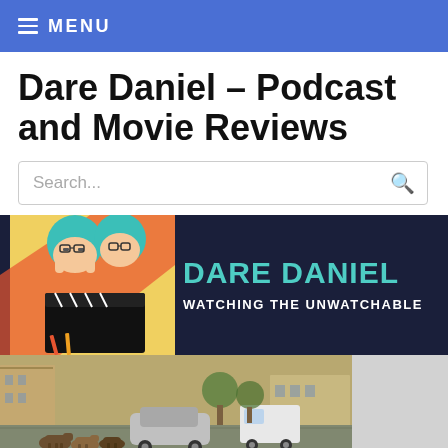MENU
Dare Daniel – Podcast and Movie Reviews
Search...
[Figure (illustration): Dare Daniel podcast banner with illustrated character and text 'DARE DANIEL - WATCHING THE UNWATCHABLE' on dark navy background]
[Figure (photo): Street scene with animals (dogs/cattle) walking through an urban street with cars and buildings]